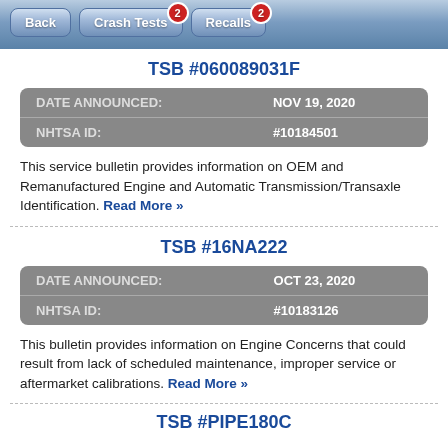Back | Crash Tests (2) | Recalls (2)
TSB #060089031F
| Field | Value |
| --- | --- |
| DATE ANNOUNCED: | NOV 19, 2020 |
| NHTSA ID: | #10184501 |
This service bulletin provides information on OEM and Remanufactured Engine and Automatic Transmission/Transaxle Identification. Read More »
TSB #16NA222
| Field | Value |
| --- | --- |
| DATE ANNOUNCED: | OCT 23, 2020 |
| NHTSA ID: | #10183126 |
This bulletin provides information on Engine Concerns that could result from lack of scheduled maintenance, improper service or aftermarket calibrations. Read More »
TSB #PIPE180C